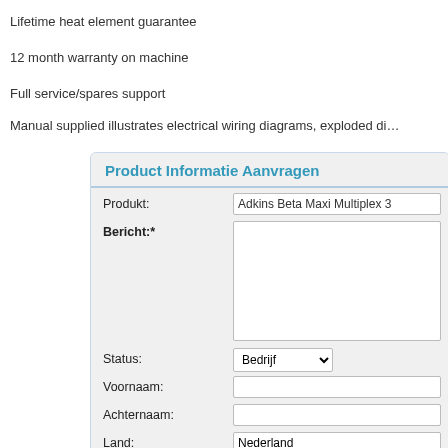Lifetime heat element guarantee
12 month warranty on machine
Full service/spares support
Manual supplied illustrates electrical wiring diagrams, exploded di…
Product Informatie Aanvragen
| Label | Field |
| --- | --- |
| Produkt: | Adkins Beta Maxi Multiplex 3 |
| Bericht:* |  |
| Status: | Bedrijf |
| Voornaam: |  |
| Achternaam: |  |
| Land: | Nederland |
| Telefoon Nr.:* |  |
| Email Adres:* |  |